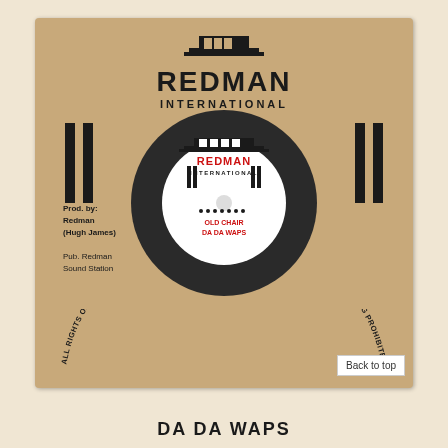[Figure (photo): A 7-inch vinyl record with Redman International label shown in its cardboard sleeve. The sleeve has 'REDMAN INTERNATIONAL' printed in large black text at the top, vertical bar decorations on either side, and curved text at the bottom reading 'ALL RIGHTS OF THE OWNER OF THIS RECORDED WORK RESERVED • UNAUTHORISED COPYING PROHIBITED'. On the left side: 'Prod. by: Redman (Hugh James) Pub. Redman Sound Station'. The record label shows 'REDMAN INTERNATIONAL' with 'OLD CHAIR DA DA WAPS' printed on it. A 'Back to top' button appears in the bottom right corner.]
DA DA WAPS